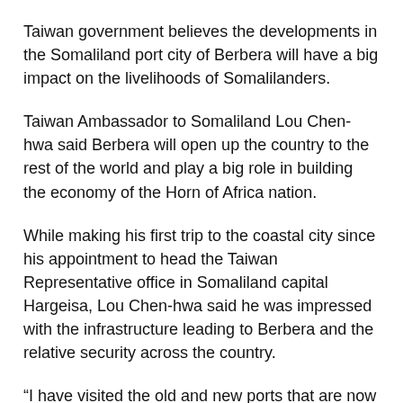Taiwan government believes the developments in the Somaliland port city of Berbera will have a big impact on the livelihoods of Somalilanders.
Taiwan Ambassador to Somaliland Lou Chen-hwa said Berbera will open up the country to the rest of the world and play a big role in building the economy of the Horn of Africa nation.
While making his first trip to the coastal city since his appointment to head the Taiwan Representative office in Somaliland capital Hargeisa, Lou Chen-hwa said he was impressed with the infrastructure leading to Berbera and the relative security across the country.
“I have visited the old and new ports that are now under construction and almost complete. I also visited the new